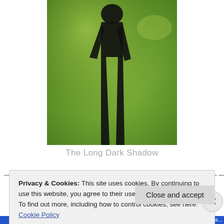[Figure (photo): A black shadow of a person cast on green grass, viewed from a high angle. The long dark shadow extends across the lawn.]
The Long Dark Shadow
Privacy & Cookies: This site uses cookies. By continuing to use this website, you agree to their use. To find out more, including how to control cookies, see here: Cookie Policy
Close and accept